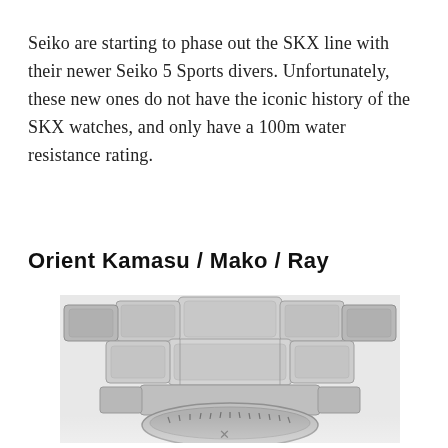Seiko are starting to phase out the SKX line with their newer Seiko 5 Sports divers. Unfortunately, these new ones do not have the iconic history of the SKX watches, and only have a 100m water resistance rating.
Orient Kamasu / Mako / Ray
[Figure (photo): Close-up photograph of a stainless steel watch bracelet and partial watch case, showing a link bracelet on an Orient diver-style watch.]